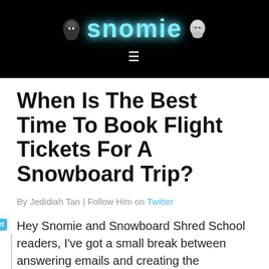[Figure (logo): Snomie website logo with ninja characters and glowing blue text on black background with hamburger menu icon below]
When Is The Best Time To Book Flight Tickets For A Snowboard Trip?
By Jedidiah Tan | Follow Him on Twitter
Hey Snomie and Snowboard Shred School readers, I've got a small break between answering emails and creating the upcoming Snomie.com free snowboard shred school